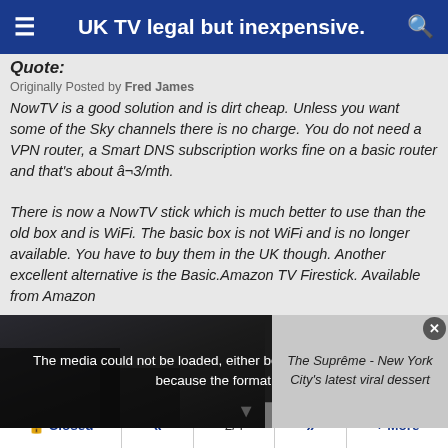UK TV legal but inexpensive.
Quote:
Originally Posted by Fred James
NowTV is a good solution and is dirt cheap. Unless you want some of the Sky channels there is no charge. You do not need a VPN router, a Smart DNS subscription works fine on a basic router and that's about â¬3/mth.

There is now a NowTV stick which is much better to use than the old box and is WiFi. The basic box is not WiFi and is no longer available. You have to buy them in the UK though. Another excellent alternative is the Basic.Amazon TV Firestick. Available from Amazon
[Figure (screenshot): Video player showing media error: 'The media could not be loaded, either because the server or network failed or because the format is not supported.' with a side advertisement for 'The Suprême - New York City's latest viral dessert']
Closed  «  2/4  »  + More